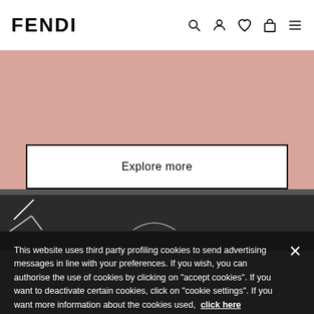FENDI
[Figure (screenshot): Fendi website header with logo and navigation icons (search, account, wishlist, bag, menu)]
Explore more
[Figure (photo): Dark background photo section with white decorative marks]
This website uses third party profiling cookies to send advertising messages in line with your preferences. If you wish, you can authorise the use of cookies by clicking on "accept cookies". If you want to deactivate certain cookies, click on "cookie settings". If you want more information about the cookies used, click here
Cookies Settings
Accept Cookies